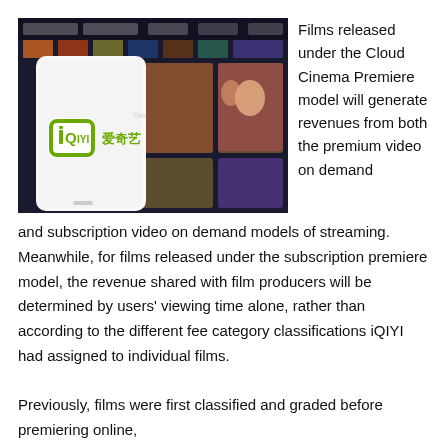[Figure (photo): A smartphone displaying the iQIYI (爱奇艺) logo and branding, held in front of a blurred screen showing colorful video content thumbnails.]
Films released under the Cloud Cinema Premiere model will generate revenues from both the premium video on demand and subscription video on demand models of streaming. Meanwhile, for films released under the subscription premiere model, the revenue shared with film producers will be determined by users' viewing time alone, rather than according to the different fee category classifications iQIYI had assigned to individual films.

Previously, films were first classified and graded before premiering online,